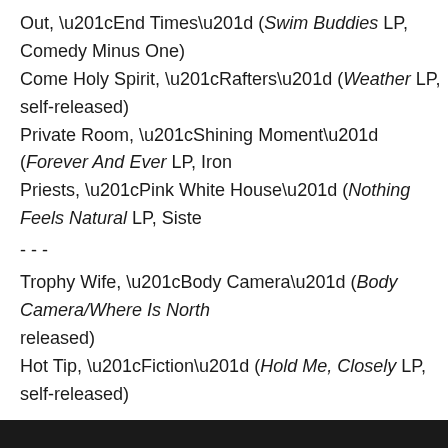Out, “End Times” (Swim Buddies LP, Comedy Minus One)
Come Holy Spirit, “Rafters” (Weather LP, self-released)
Private Room, “Shining Moment” (Forever And Ever LP, Iron
Priests, “Pink White House” (Nothing Feels Natural LP, Siste
- - -
Trophy Wife, “Body Camera” (Body Camera/Where Is North released)
Hot Tip, “Fiction” (Hold Me, Closely LP, self-released)
Storm Clouds, “All the Effort” (Cloak the Sky LP, Self-release
Give, “Heart First Opened” (Electric Flower Circus LP, Moonf
- - -
Kitchens & Bathroom, “Australian Council” (Vehicles Beyond Again)